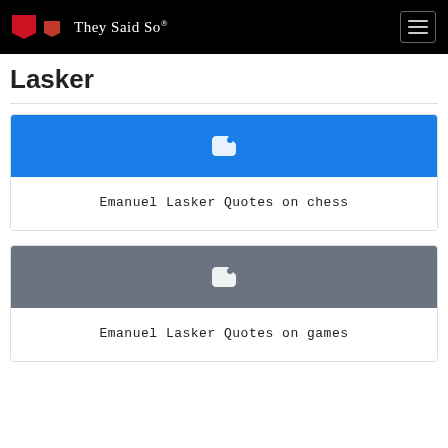They Said So®
Lasker
[Figure (illustration): Blue card with white tag icon]
Emanuel Lasker Quotes on chess
[Figure (illustration): Gray card with white tag icon]
Emanuel Lasker Quotes on games